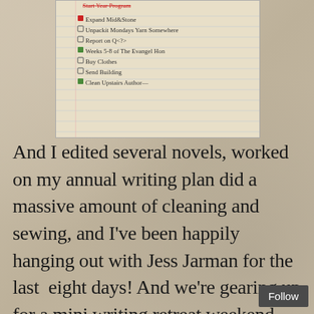[Figure (photo): A photograph of a handwritten checklist on lined notebook paper. Items include: Start Year Program (partially visible, crossed out in red), Expand Mid Stone (checked with red), Unpackit Mondays Yarn Somewhere (unchecked), Report on Q(?) (unchecked), Weeks 5-8 of The Evangel (checked in green), Buy Clothes (unchecked), Send Building (unchecked), Clean Upstairs Author (checked in green).]
And I edited several novels, worked on my annual writing plan did a massive amount of cleaning and sewing, and I've been happily hanging out with Jess Jarman for the last  eight days! And we're gearing up for a mini writing retreat weekend. Oh, and I've developed an